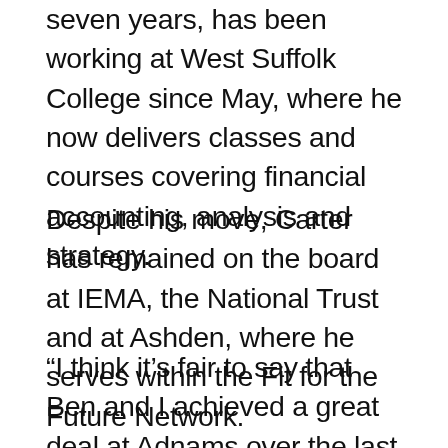seven years, has been working at West Suffolk College since May, where he now delivers classes and courses covering financial accounting, analysis and strategy.
Despite his move, Carter has remained on the board at IEMA, the National Trust and at Ashden, where he serves within the Fit for the Future Network.
“I think it’s fair to say that Ben and I achieved a great deal at Adnams over the last seven years and those achievements have been recognised in 14 major awards during our tenure,” Carter